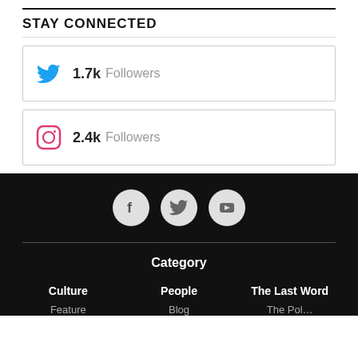STAY CONNECTED
1.7k Followers
2.4k Followers
[Figure (infographic): Three circular social media icons (Facebook, Twitter, YouTube) on black background]
Category
Culture    People    The Last Word
Feature    Blog    The Rul...